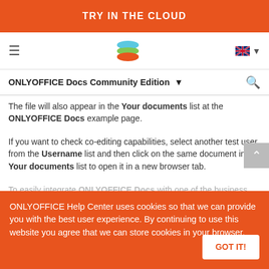TRY IN THE CLOUD
[Figure (logo): ONLYOFFICE layers logo in center of navigation bar, hamburger menu on left, UK flag language selector on right]
ONLYOFFICE Docs Community Edition
The file will also appear in the Your documents list at the ONLYOFFICE Docs example page.
If you want to check co-editing capabilities, select another test user from the Username list and then click on the same document in the Your documents list to open it in a new browser tab.
To easily integrate ONLYOFFICE Docs with one of the business platforms like Alfresco, Confluence, Liferay, Nextcloud, ownCloud, SharePoint, HumHub etc., you can Integrate one of our existing connectors as it is described here: https://...rs/plugins Use the droplet IP address to specify the ONLYOFFICE Docs address in your web application settings, e.g. http://<your droplet IP ad
ONLYOFFICE Help Center uses cookies so that we can provide you with the best user experience. By continuing to use this website you agree that we can store cookies in your browser.